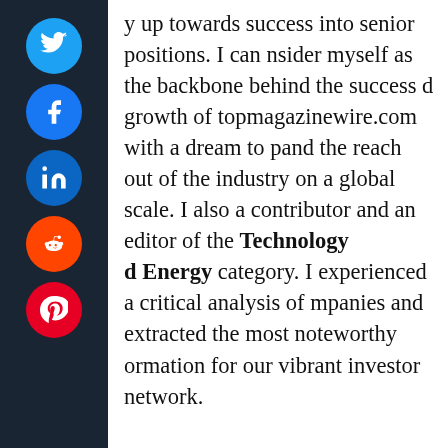[Figure (other): Social media sharing sidebar with Twitter, Facebook, LinkedIn, Reddit, and Pinterest buttons on dark navy background]
y up towards success into senior positions. I can nsider myself as the backbone behind the success d growth of topmagazinewire.com with a dream to pand the reach out of the industry on a global scale. I also a contributor and an editor of the Technology d Energy category. I experienced a critical analysis of mpanies and extracted the most noteworthy ormation for our vibrant investor network.
👍 You May Also Like
Bitcoin price...
Alibaba to...
Traders say Bitcoin ‘needed’ pullback, maintain bullish momentum